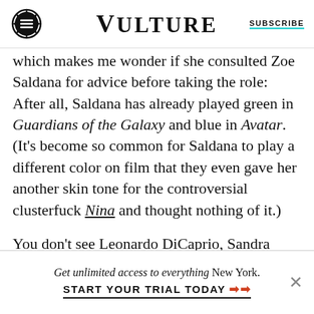VULTURE | SUBSCRIBE
which makes me wonder if she consulted Zoe Saldana for advice before taking the role: After all, Saldana has already played green in Guardians of the Galaxy and blue in Avatar. (It's become so common for Saldana to play a different color on film that they even gave her another skin tone for the controversial clusterfuck Nina and thought nothing of it.)
You don't see Leonardo DiCaprio, Sandra Bullock, and Tom Cruise painting their faces to win roles, but this color-changing gambit has practically become
Get unlimited access to everything New York. START YOUR TRIAL TODAY